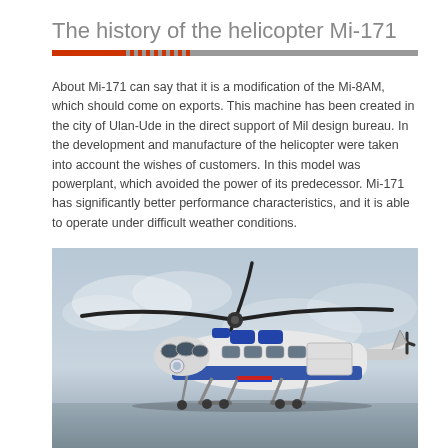The history of the helicopter Mi-171
About Mi-171 can say that it is a modification of the Mi-8AM, which should come on exports. This machine has been created in the city of Ulan-Ude in the direct support of Mil design bureau. In the development and manufacture of the helicopter were taken into account the wishes of customers. In this model was powerplant, which avoided the power of its predecessor. Mi-171 has significantly better performance characteristics, and it is able to operate under difficult weather conditions.
[Figure (photo): Mi-171 helicopter on the ground, white and blue color scheme, with main rotor blades and tail rotor visible, cloudy sky background]